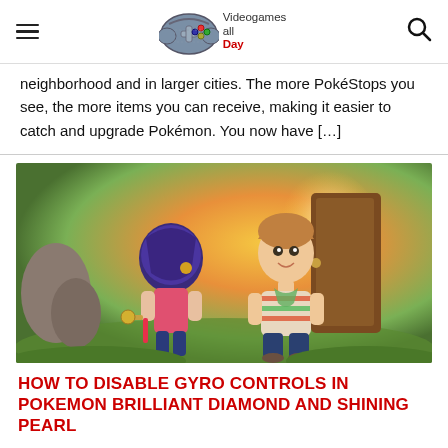Videogames all Day
neighborhood and in larger cities. The more PokéStops you see, the more items you can receive, making it easier to catch and upgrade Pokémon. You now have […]
[Figure (photo): Screenshot from Pokemon Brilliant Diamond and Shining Pearl showing two character models — a girl with dark blue hair from behind and a boy with brown hair facing the camera — standing near a wooden door in a colorful outdoor environment.]
HOW TO DISABLE GYRO CONTROLS IN POKEMON BRILLIANT DIAMOND AND SHINING PEARL